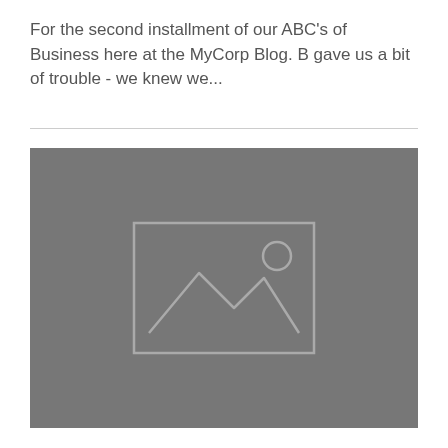For the second installment of our ABC's of Business here at the MyCorp Blog. B gave us a bit of trouble - we knew we...
[Figure (photo): Gray placeholder image with a generic image icon (mountain and sun outline) centered on the gray background.]